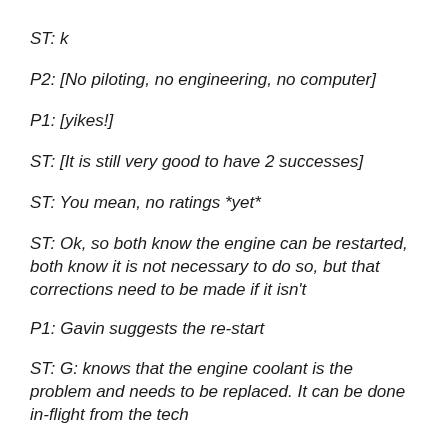ST:  k
P2:  [No piloting, no engineering, no computer]
P1:  [yikes!]
ST:  [It is still very good to have 2 successes]
ST:  You mean, no ratings *yet*
ST:  Ok, so both know the engine can be restarted, both know it is not necessary to do so, but that corrections need to be made if it isn't
P1:  Gavin suggests the re-start
ST:  G: knows that the engine coolant is the problem and needs to be replaced. It can be done in-flight from the tech